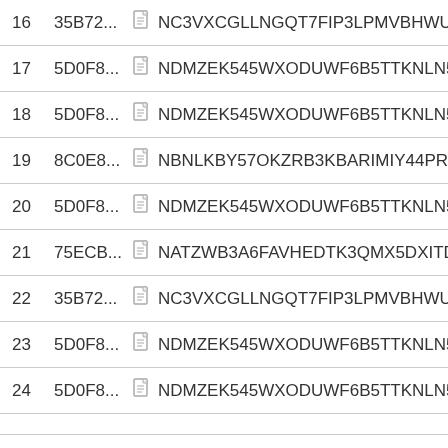| # | Hash |  | Key |
| --- | --- | --- | --- |
| 16 | 35B72... |  | NC3VXCGLLNGQT7FIP3LPMVBHWU44MXNQ47... |
| 17 | 5D0F8... |  | NDMZEK545WXODUWF6B5TTKNLN57ANGQJH... |
| 18 | 5D0F8... |  | NDMZEK545WXODUWF6B5TTKNLN57ANGQJH... |
| 19 | 8C0E8... |  | NBNLKBY57OKZRB3KBARIMIY44PR3FAUPPJ2O... |
| 20 | 5D0F8... |  | NDMZEK545WXODUWF6B5TTKNLN57ANGQJH... |
| 21 | 75ECB... |  | NATZWB3A6FAVHEDTK3QMX5DXITDAWSOWF... |
| 22 | 35B72... |  | NC3VXCGLLNGQT7FIP3LPMVBHWU44MXNQ47... |
| 23 | 5D0F8... |  | NDMZEK545WXODUWF6B5TTKNLN57ANGQJH... |
| 24 | 5D0F8... |  | NDMZEK545WXODUWF6B5TTKNLN57ANGQJH... |